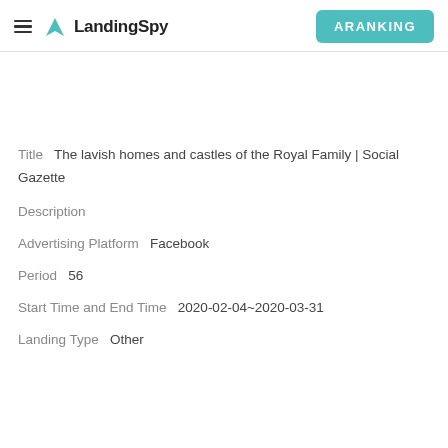LandingSpy | ARANKING
Title   The lavish homes and castles of the Royal Family | Social Gazette
Description
Advertising Platform   Facebook
Period   56
Start Time and End Time   2020-02-04~2020-03-31
Landing Type   Other